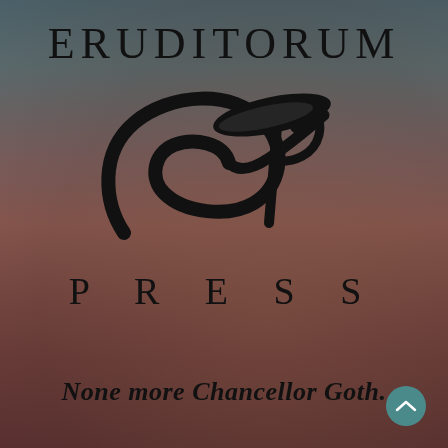ERUDITORUM
[Figure (logo): Eruditorum Press stylized EP logo — a sweeping calligraphic 'e' curl and 'P' letterform in black]
P R E S S
None more Chancellor Goth.